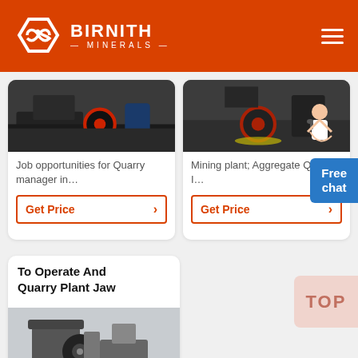BIRNITH MINERALS
Job opportunities for Quarry manager in…
Get Price
Mining plant; Aggregate Quarry I…
Get Price
Free chat
To Operate And Quarry Plant Jaw
[Figure (photo): Industrial mining/crusher machine in a factory setting]
[Figure (photo): Industrial mining machine photo for 'Job opportunities for Quarry manager' card]
[Figure (photo): Industrial mining machine photo for 'Mining plant; Aggregate Quarry' card]
[Figure (photo): Jaw crusher machine in factory for bottom card]